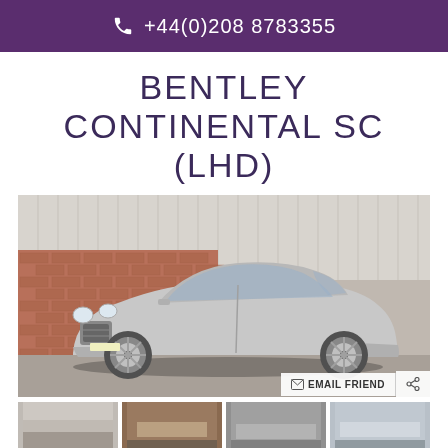+44(0)208 8783355
BENTLEY CONTINENTAL SC (LHD)
[Figure (photo): Silver Bentley Continental SC (LHD) coupe parked in front of a brick wall and corrugated metal building, photographed from a front-three-quarter angle. EMAIL FRIEND and share buttons overlay the bottom-right of the image.]
[Figure (photo): Thumbnail row: four small thumbnail images of the Bentley Continental SC from various angles.]